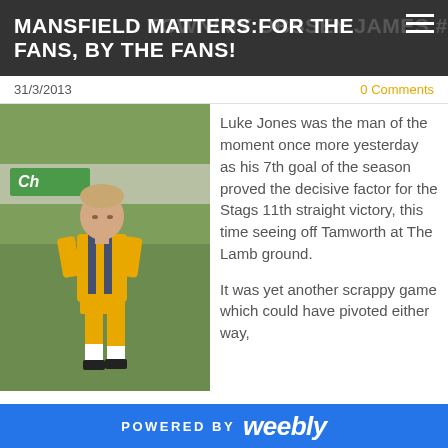MANSFIELD MATTERS:FOR THE FANS, BY THE FANS!
31/3/2013
0 Comments
[Figure (photo): A Mansfield Town footballer in yellow and blue kit walking on a grass pitch]
Luke Jones was the man of the moment once more yesterday as his 7th goal of the season proved the decisive factor for the Stags 11th straight victory, this time seeing off Tamworth at The Lamb ground.
It was yet another scrappy game which could have pivoted either way,
POWERED BY weebly